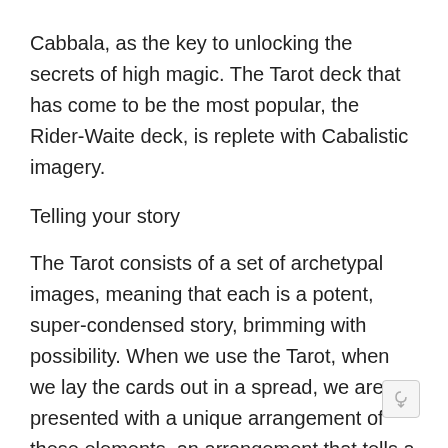Cabbala, as the key to unlocking the secrets of high magic. The Tarot deck that has come to be the most popular, the Rider-Waite deck, is replete with Cabalistic imagery.
Telling your story
The Tarot consists of a set of archetypal images, meaning that each is a potent, super-condensed story, brimming with possibility. When we use the Tarot, when we lay the cards out in a spread, we are presented with a unique arrangement of these elements, an arrangement that tells a bigger story — our story. We see our inner narratives reflected back to us in the narratives laid out in the cards. Then, you can change the way the stories go. You can cause change to occur in accordance with will.